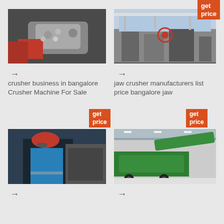get price
[Figure (photo): Hands holding crushed gravel/aggregate material]
→
crusher business in bangalore Crusher Machine For Sale
get price
[Figure (photo): Industrial jaw crusher machine in a factory/warehouse setting]
→
jaw crusher manufacturers list price bangalore jaw
get price
[Figure (photo): Worker in red hard hat and blue uniform working on industrial equipment]
[Figure (photo): Green mobile crusher machine in a large warehouse]
→
→